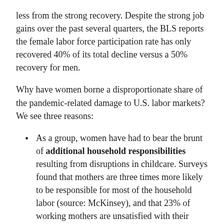less from the strong recovery. Despite the strong job gains over the past several quarters, the BLS reports the female labor force participation rate has only recovered 40% of its total decline versus a 50% recovery for men.
Why have women borne a disproportionate share of the pandemic-related damage to U.S. labor markets? We see three reasons:
As a group, women have had to bear the brunt of additional household responsibilities resulting from disruptions in childcare. Surveys found that mothers are three times more likely to be responsible for most of the household labor (source: McKinsey), and that 23% of working mothers are unsatisfied with their work-life balance, versus 12% of working fathers. And